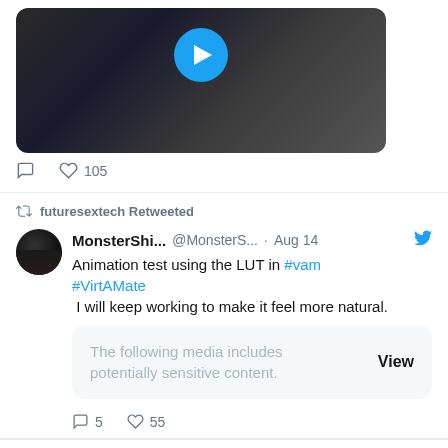[Figure (screenshot): Video thumbnail showing dark bathroom scene with play button]
105 likes
futuresextech Retweeted
MonsterShi... @MonsterS... · Aug 14
Animation test using the LUT in #vam #VirtAMate
 I will keep working to make it feel more natural.
The following media includes potentially sensitive content. View
5 replies, 55 likes
futursext... @FutureSex_... · Aug 13
VR porn on the Pico 4 headset is going to be